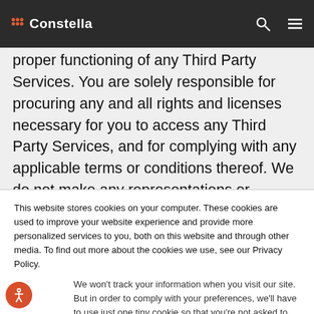Constella
the extent that you make such availability and/or continuity dependent upon the proper functioning of any Third Party Services. You are solely responsible for procuring any and all rights and licenses necessary for you to access any Third Party Services, and for complying with any applicable terms or conditions thereof. We do not make any representations or warranties with respect to any Third Party Services, or the providers thereof. Any
This website stores cookies on your computer. These cookies are used to improve your website experience and provide more personalized services to you, both on this website and through other media. To find out more about the cookies we use, see our Privacy Policy.
We won't track your information when you visit our site. But in order to comply with your preferences, we'll have to use just one tiny cookie so that you're not asked to make this choice again.